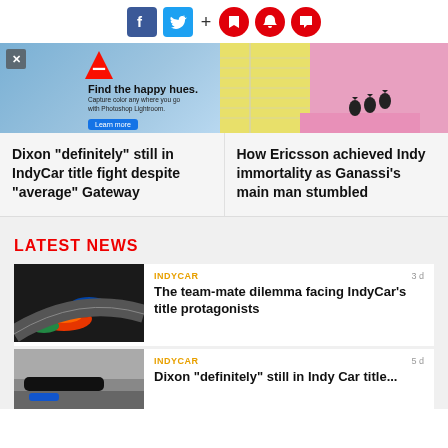[Figure (screenshot): Social sharing bar with Facebook, Twitter, plus sign, and three red circular icon buttons (bookmark, notification, comment)]
[Figure (photo): Adobe advertisement banner: Find the happy hues. Colorful pastel background with birds perched on a pink surface. Adobe logo, headline, body text and Learn more button.]
Dixon "definitely" still in IndyCar title fight despite "average" Gateway
How Ericsson achieved Indy immortality as Ganassi's main man stumbled
LATEST NEWS
INDYCAR
3 d
[Figure (photo): IndyCar racing cars on track, multiple cars in a turn with colorful liveries]
The team-mate dilemma facing IndyCar's title protagonists
INDYCAR
5 d
[Figure (photo): IndyCar race car on track, partially visible]
Dixon "definitely" still in IndyCar title...